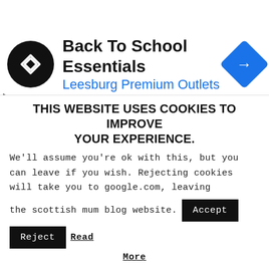[Figure (screenshot): Ad banner for Back To School Essentials at Leesburg Premium Outlets, with circular black logo with double arrow, blue diamond navigation icon, and small play/close controls]
This year I will start to write the book
I have been wanting to write since
THIS WEBSITE USES COOKIES TO IMPROVE YOUR EXPERIENCE.
We'll assume you're ok with this, but you can leave if you wish. Rejecting cookies will take you to google.com, leaving the scottish mum blog website.
Accept  Reject  Read More